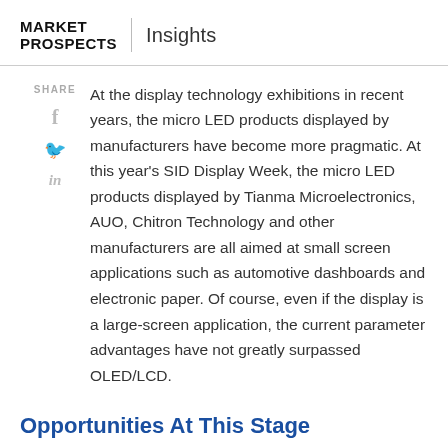MARKET PROSPECTS | Insights
At the display technology exhibitions in recent years, the micro LED products displayed by manufacturers have become more pragmatic. At this year's SID Display Week, the micro LED products displayed by Tianma Microelectronics, AUO, Chitron Technology and other manufacturers are all aimed at small screen applications such as automotive dashboards and electronic paper. Of course, even if the display is a large-screen application, the current parameter advantages have not greatly surpassed OLED/LCD.
Opportunities At This Stage